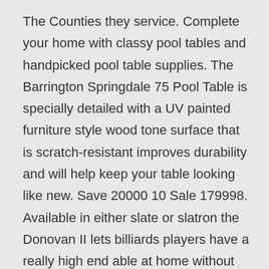The Counties they service. Complete your home with classy pool tables and handpicked pool table supplies. The Barrington Springdale 75 Pool Table is specially detailed with a UV painted furniture style wood tone surface that is scratch-resistant improves durability and will help keep your table looking like new. Save 20000 10 Sale 179998. Available in either slate or slatron the Donovan II lets billiards players have a really high end able at home without going overboard. Cue up with game-winning billiard accessories from pool sticks and ball sets to pool table covers and accessory racks. Our tables are handcrafted by the Spencer Marston Billiards Company one of the most highly rated manufacturers in the world. Many amateurs know how to play eight ball on a billiard table but shooting pool at home